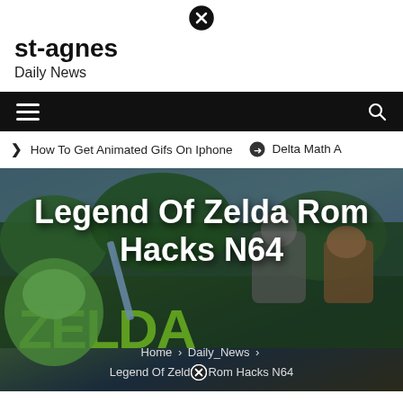[Figure (other): Close/dismiss button (circled X icon) at top center]
st-agnes
Daily News
[Figure (other): Black navigation bar with hamburger menu icon on left and search icon on right]
❯ How To Get Animated Gifs On Iphone    ⊙ Delta Math A
[Figure (photo): Legend of Zelda N64 game screenshot hero image with characters and green Zelda logo]
Legend Of Zelda Rom Hacks N64
Home > Daily_News > Legend Of Zelda Rom Hacks N64